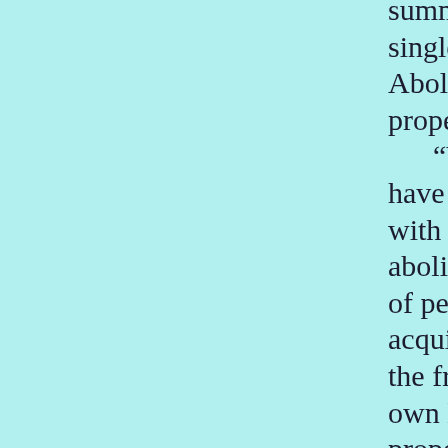summed up in the single sentence: Abolition of private property.
“We Communists have been reproached with the desire of abolishing the right of personally acquiring property as the fruit of a man’s own labor, which property is alleged to be the groundwork of all personal freedom,